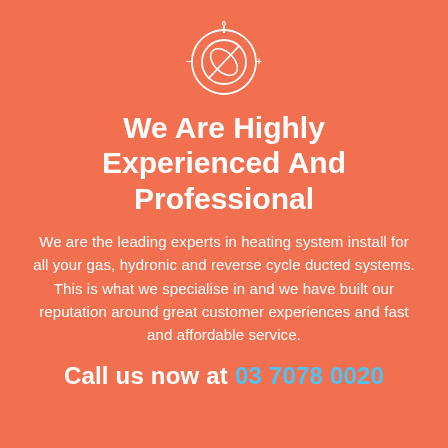[Figure (logo): A circular thermostat/dial logo icon in white outline. Shows a dial with a needle pointing to 0 at top, with minus sign on left and plus sign on right, encircled by a partial arc.]
We Are Highly Experienced And Professional
We are the leading experts in heating system install for all your gas, hydronic and reverse cycle ducted systems. This is what we specialise in and we have built our reputation around great customer experiences and fast and affordable service.
Call us now at 03 7078 0020